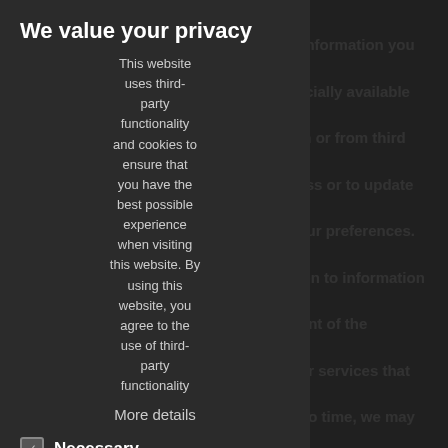We recommend the information you provide us by accumulating publicly or commercially available information as available in the public domain or from third parties, for instance to verify your address or to update your information and to establish a profile of your preferences. We tie your personal identifiable information to information in the profile, in order to improve the content of the Websites for you or to inform you about products or services that we think will be of interest to you. From time to time, we may also ask you to participate in surveys or other communications conducted by us or third parties designed to help us improve the Websites or the products or services we provide. Our cookies: We use "cookies" such purposes as enhancing your online experience by making it easier for you to navigate through the Website, to providing certain features which are commonly
We value your privacy
This website uses third-party functionality and cookies to ensure that you have the best possible experience when visiting this website. By using this website, you agree to the use of third-party functionality
More details
Necessary
Third-party cookies
Accept selected
Accept all